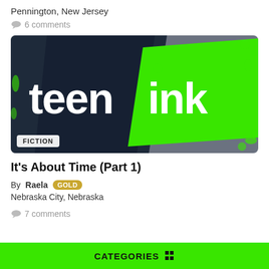Pennington, New Jersey
💬 6 comments
[Figure (logo): Teen Ink logo on dark blue/grey background with bright green accent, showing 'teen' in white on dark panel and 'ink' on green panel. Green paint splashes on edges.]
FICTION
It's About Time (Part 1)
By Raela GOLD
Nebraska City, Nebraska
💬 7 comments
CATEGORIES